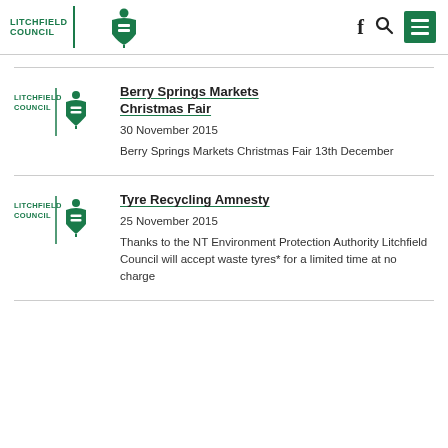Litchfield Council — website header with logo, Facebook icon, search icon, and menu button
Berry Springs Markets Christmas Fair
30 November 2015
Berry Springs Markets Christmas Fair 13th December
Tyre Recycling Amnesty
25 November 2015
Thanks to the NT Environment Protection Authority Litchfield Council will accept waste tyres* for a limited time at no charge